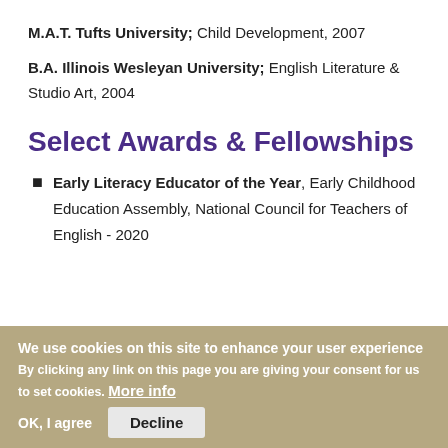M.A.T. Tufts University; Child Development, 2007
B.A. Illinois Wesleyan University; English Literature & Studio Art, 2004
Select Awards & Fellowships
Early Literacy Educator of the Year, Early Childhood Education Assembly, National Council for Teachers of English - 2020
We use cookies on this site to enhance your user experience
By clicking any link on this page you are giving your consent for us to set cookies. More info
OK, I agree    Decline